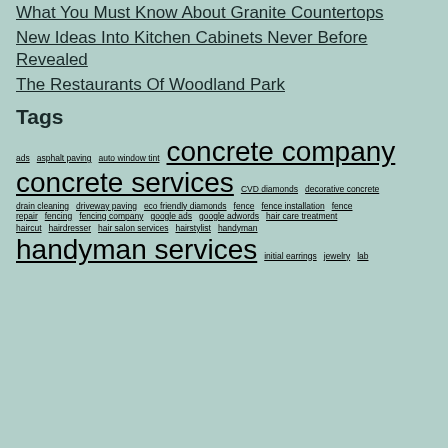What You Must Know About Granite Countertops
New Ideas Into Kitchen Cabinets Never Before Revealed
The Restaurants Of Woodland Park
Tags
ads  asphalt paving  auto window tint  concrete company  concrete services  CVD diamonds  decorative concrete  drain cleaning  driveway paving  eco friendly diamonds  fence  fence installation  fence repair  fencing  fencing company  google ads  google adwords  hair care treatment  haircut  hairdresser  hair salon services  hairstylist  handyman  handyman services  initial earrings  jewelry  lab